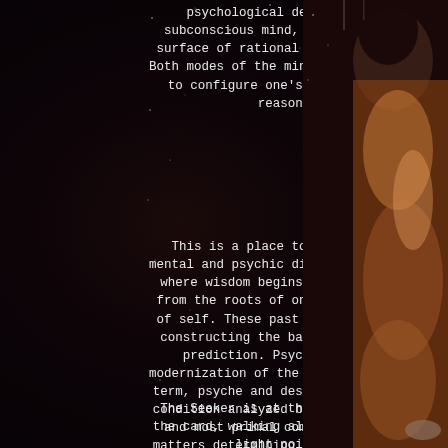psychological depth of the subconscious mind, and up to the surface of rational understanding. Both modes of the mind are necessary to configure one's behavior and reason.
[Figure (illustration): Dark mystical background with stars and a figure on the right side — appears to be a painted illustration of a person with dark hair, partially visible, in warm amber and brown tones]
This is a place to resolve all mental and psychic dilemmas, a place where wisdom begins its sprouting from the roots of one's far memory of self. These past statements are constructing the basis for future prediction. Psychology is a modernization of the Greek mythology term, psyche and describes a mental condition analyzed by one's deepest and most primal comprehension of matters determining one's behavior, action, and judgment.
The Seeker is at the left side of the card, walking along the path of light pointed toward the mountaintop where